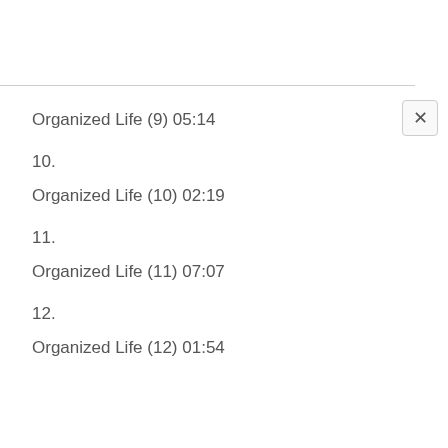Organized Life (9) 05:14
10.
Organized Life (10) 02:19
11.
Organized Life (11) 07:07
12.
Organized Life (12) 01:54